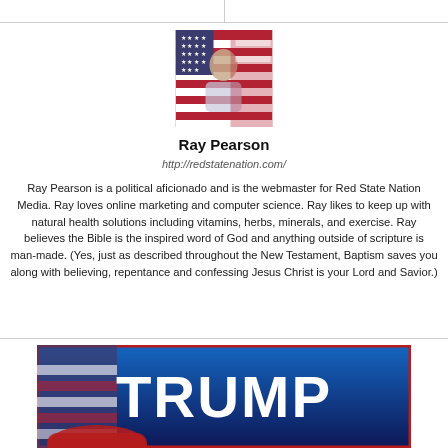[Figure (photo): Profile photo of Ray Pearson holding an American flag]
Ray Pearson
http://redstatenation.com/
Ray Pearson is a political aficionado and is the webmaster for Red State Nation Media. Ray loves online marketing and computer science. Ray likes to keep up with natural health solutions including vitamins, herbs, minerals, and exercise. Ray believes the Bible is the inspired word of God and anything outside of scripture is man-made. (Yes, just as described throughout the New Testament, Baptism saves you along with believing, repentance and confessing Jesus Christ is your Lord and Savior.)
[Figure (photo): Trump campaign banner with American flag and red hat in the foreground]